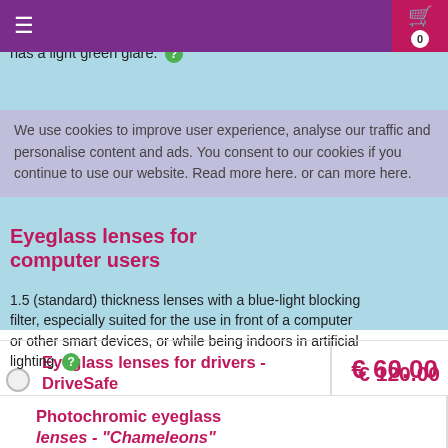Navigation bar with menu and cart (0 items)
with multi coating. Fewer scratches, easy to clear and swift dry-up, provide good light transmittance. The lens has a light green glare.
€ 60.00
We use cookies to improve user experience, analyse our traffic and personalise content and ads. You consent to our cookies if you continue to use our website. Read more here. or can more here.
Eyeglass lenses for computer users
1.5 (standard) thickness lenses with a blue-light blocking filter, especially suited for the use in front of a computer or other smart devices, or while being indoors in artificial lighting.
€ 60.00
Eyeglass lenses for drivers - DriveSafe
DriveSave 1.5 (standard) thickness lenses from the German manufacturer Zeiss with specially designed coating to meet driver needs.
€ 120.00
Photochromic eyeglass lenses - "Chameleons"